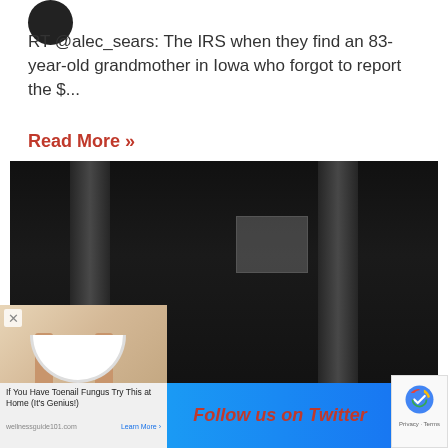[Figure (photo): Circular profile icon/avatar (dark colored)]
RT @alec_sears: The IRS when they find an 83-year-old grandmother in Iowa who forgot to report the $...
Read More »
[Figure (photo): Dark interior room photograph showing curtains and a corridor/hallway with dim lighting]
[Figure (photo): Advertisement overlay: person standing next to a white bowl, with text 'If You Have Toenail Fungus Try This at Home (It's Genius!)' and source wellnessguide101.com]
Follow us on Twitter
[Figure (other): reCAPTCHA widget with Privacy and Terms text]